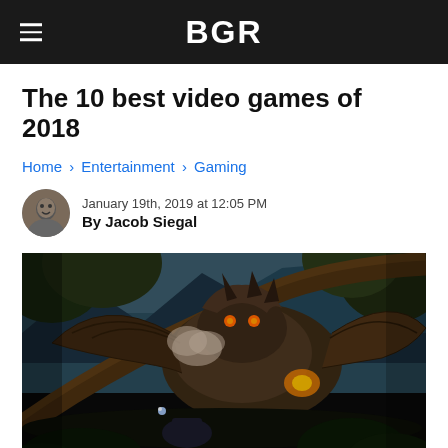BGR
The 10 best video games of 2018
Home › Entertainment › Gaming
January 19th, 2019 at 12:05 PM
By Jacob Siegal
[Figure (photo): Screenshot from a video game showing a large monster creature with wings in a forest/jungle environment, with dramatic lighting and action scene elements.]